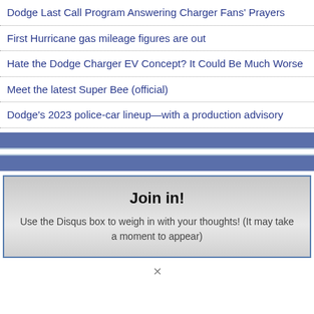Dodge Last Call Program Answering Charger Fans' Prayers
First Hurricane gas mileage figures are out
Hate the Dodge Charger EV Concept? It Could Be Much Worse
Meet the latest Super Bee (official)
Dodge's 2023 police-car lineup—with a production advisory
Join in!
Use the Disqus box to weigh in with your thoughts! (It may take a moment to appear)